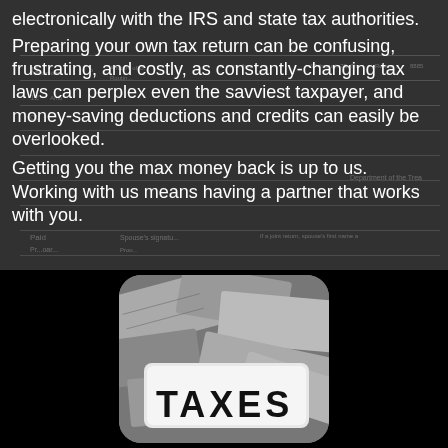[Figure (photo): Dark background showing a blurred IRS Form 1040 tax document as a background image]
electronically with the IRS and state tax authorities.
Preparing your own tax return can be confusing, frustrating, and costly, as constantly-changing tax laws can perplex even the savviest taxpayer, and money-saving deductions and credits can easily be overlooked.
Getting you the max money back is up to us. Working with us means having a partner that works with you.
[Figure (photo): Black and white photo of US dollar bills scattered with a white sign reading TAXES in large letters, with rounded corners]